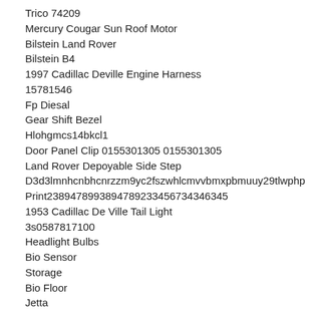Trico 74209
Mercury Cougar Sun Roof Motor
Bilstein Land Rover
Bilstein B4
1997 Cadillac Deville Engine Harness
15781546
Fp Diesal
Gear Shift Bezel
Hlohgmcs14bkcl1
Door Panel Clip 0155301305 0155301305
Land Rover Depoyable Side Step
D3d3lmnhcnbhcnrzzm9yc2fszwhlcmvvbmxpbmuuy29tlwphp
Print2389478993894789233456734346345
1953 Cadillac De Ville Tail Light
3s0587817100
Headlight Bulbs
Bio Sensor
Storage
Bio Floor
Jetta
240sx Stage
Alpineweib Ford
5 64162 64146 Bmw